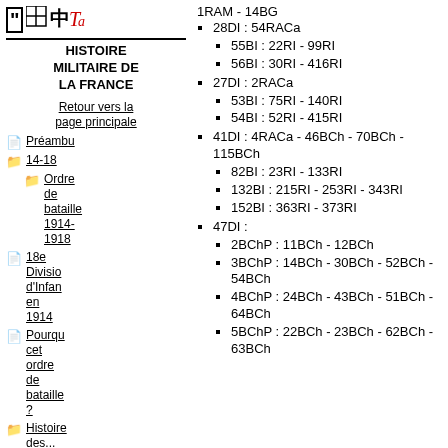[Figure (logo): Grid icon, Chinese character, and red italic letter logo]
Histoire militaire de la France
Retour vers la page principale
Préambu
14-18
Ordre de bataille 1914-1918
18e Division d'Infan en 1914
Pourquoi cet ordre de bataille ?
Histoire des...
1RAM - 14BG
28DI : 54RACa
55BI : 22RI - 99RI
56BI : 30RI - 416RI
27DI : 2RACa
53BI : 75RI - 140RI
54BI : 52RI - 415RI
41DI : 4RACa - 46BCh - 70BCh - 115BCh
82BI : 23RI - 133RI
132BI : 215RI - 253RI - 343RI
152BI : 363RI - 373RI
47DI :
2BChP : 11BCh - 12BCh
3BChP : 14BCh - 30BCh - 52BCh - 54BCh
4BChP : 24BCh - 43BCh - 51BCh - 64BCh
5BChP : 22BCh - 23BCh - 62BCh - 63BCh